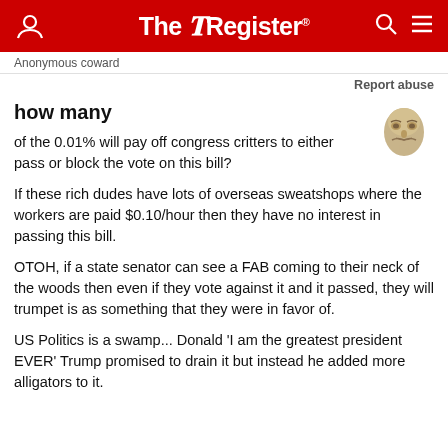The Register
Anonymous coward
Report abuse
how many
of the 0.01% will pay off congress critters to either pass or block the vote on this bill?
If these rich dudes have lots of overseas sweatshops where the workers are paid $0.10/hour then they have no interest in passing this bill.
OTOH, if a state senator can see a FAB coming to their neck of the woods then even if they vote against it and it passed, they will trumpet is as something that they were in favor of.
US Politics is a swamp... Donald 'I am the greatest president EVER' Trump promised to drain it but instead he added more alligators to it.